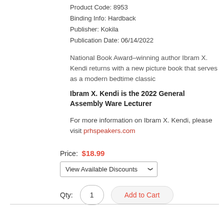Product Code: 8953
Binding Info: Hardback
Publisher: Kokila
Publication Date: 06/14/2022
National Book Award–winning author Ibram X. Kendi returns with a new picture book that serves as a modern bedtime classic
Ibram X. Kendi is the 2022 General Assembly Ware Lecturer
For more information on Ibram X. Kendi, please visit prhspeakers.com
Price: $18.99
View Available Discounts
Qty: 1  Add to Cart
[Figure (photo): Book cover image at bottom of page]